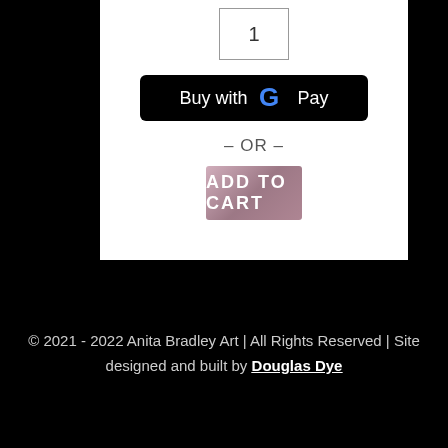[Figure (screenshot): Quantity input box showing '1', a black 'Buy with G Pay' button, an '- OR -' separator, and an 'ADD TO CART' button with a purple/mauve background]
© 2021 - 2022 Anita Bradley Art | All Rights Reserved | Site designed and built by Douglas Dye